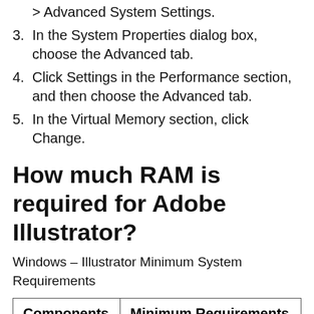> Advanced System Settings.
3. In the System Properties dialog box, choose the Advanced tab.
4. Click Settings in the Performance section, and then choose the Advanced tab.
5. In the Virtual Memory section, click Change.
How much RAM is required for Adobe Illustrator?
Windows – Illustrator Minimum System Requirements
| Components | Minimum Requirements |
| --- | --- |
|  |  |